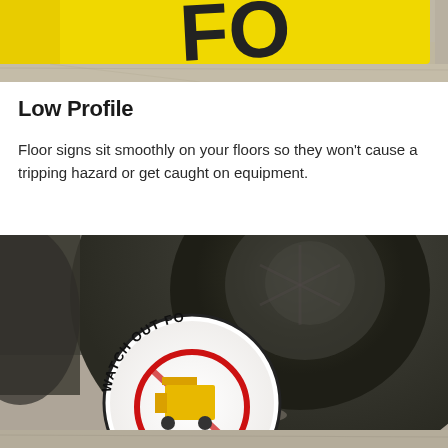[Figure (photo): Close-up of a yellow floor sign with bold black text, resting on a concrete floor surface. Top portion only visible, cropped.]
Low Profile
Floor signs sit smoothly on your floors so they won't cause a tripping hazard or get caught on equipment.
[Figure (photo): Forklift tire/wheel in close-up background with a round floor sign in foreground reading 'WATCH OUT FO...' with a forklift graphic and red circle. Concrete floor visible.]